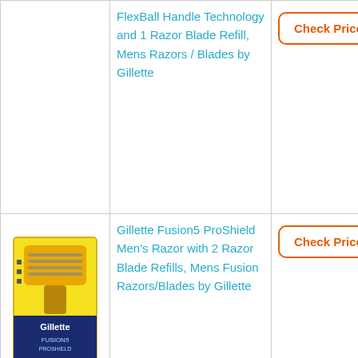| Image | Product Name | Action |
| --- | --- | --- |
| [image] | FlexBall Handle Technology and 1 Razor Blade Refill, Mens Razors / Blades by Gillette | Check Price |
| [Gillette Fusion5 ProShield image] | Gillette Fusion5 ProShield Men's Razor with 2 Razor Blade Refills, Mens Fusion Razors/Blades by Gillette | Check Price |